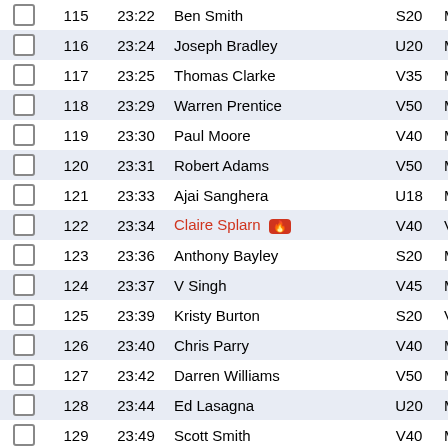|  | # | Time | Name | Cat |  |
| --- | --- | --- | --- | --- | --- |
|  | 115 | 23:22 | Ben Smith | S20 | M |
|  | 116 | 23:24 | Joseph Bradley | U20 | M |
|  | 117 | 23:25 | Thomas Clarke | V35 | M |
|  | 118 | 23:29 | Warren Prentice | V50 | M |
|  | 119 | 23:30 | Paul Moore | V40 | M |
|  | 120 | 23:31 | Robert Adams | V50 | M |
|  | 121 | 23:33 | Ajai Sanghera | U18 | M |
|  | 122 | 23:34 | Claire Splarn 🔥 | V40 | V |
|  | 123 | 23:36 | Anthony Bayley | S20 | M |
|  | 124 | 23:37 | V Singh | V45 | M |
|  | 125 | 23:39 | Kristy Burton | S20 | V |
|  | 126 | 23:40 | Chris Parry | V40 | M |
|  | 127 | 23:42 | Darren Williams | V50 | M |
|  | 128 | 23:44 | Ed Lasagna | U20 | M |
|  | 129 | 23:49 | Scott Smith | V40 | M |
|  | 130 | 23:50 | David Morris | V50 | M |
|  | 131 | 23:52 | Hector Martin | S25 | M |
|  | 132 | 23:53 | Barnaby Howes | S30 | M |
|  | 133 | 23:53 | Scott Enders | S30 | M |
|  | 134 | 23:55 | Tim Spencer | V55 | M |